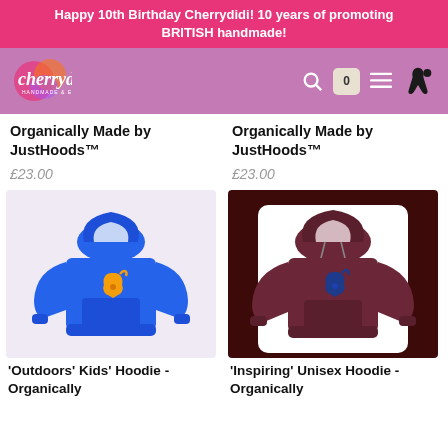Happy 10th Birthday Cherrydidi! 10 years of promoting BRITISH handmade!
[Figure (logo): Cherrydidi Handmade & Ethical logo with colorful splash and navigation icons]
Organically Made by JustHoods™
£23.00
Organically Made by JustHoods™
£23.00
[Figure (photo): Blue kids hoodie with yellow Cherrydidi logo on chest]
[Figure (photo): Burgundy/maroon unisex hoodie with blue Cherrydidi logo on chest]
'Outdoors' Kids' Hoodie - Organically
'Inspiring' Unisex Hoodie - Organically